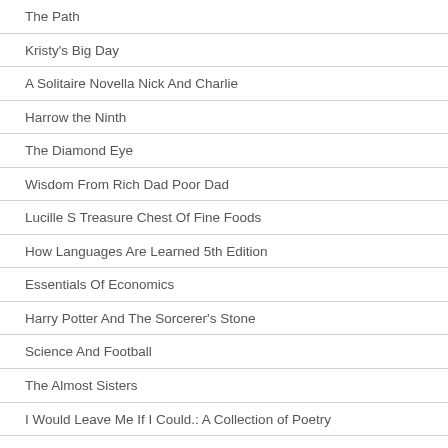The Path
Kristy's Big Day
A Solitaire Novella Nick And Charlie
Harrow the Ninth
The Diamond Eye
Wisdom From Rich Dad Poor Dad
Lucille S Treasure Chest Of Fine Foods
How Languages Are Learned 5th Edition
Essentials Of Economics
Harry Potter And The Sorcerer's Stone
Science And Football
The Almost Sisters
I Would Leave Me If I Could.: A Collection of Poetry
Step Ahead Biology